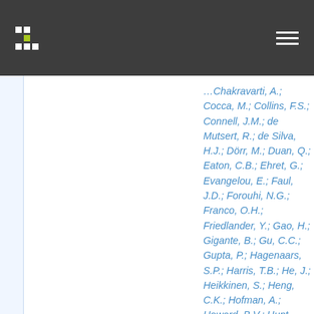Navigation header with logo and menu
Chakravarti, A.; Cocca, M.; Collins, F.S.; Connell, J.M.; de Mutsert, R.; de Silva, H.J.; Dörr, M.; Duan, Q.; Eaton, C.B.; Ehret, G.; Evangelou, E.; Faul, J.D.; Forouhi, N.G.; Franco, O.H.; Friedlander, Y.; Gao, H.; Gigante, B.; Gu, C.C.; Gupta, P.; Hagenaars, S.P.; Harris, T.B.; He, J.; Heikkinen, S.; Heng, C.K.; Hofman, A.; Howard, B.V.; Hunt, S.C.; Irvin, M.R.; Jia,